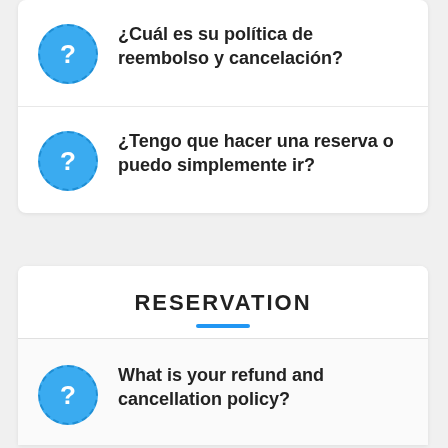¿Cuál es su política de reembolso y cancelación?
¿Tengo que hacer una reserva o puedo simplemente ir?
RESERVATION
What is your refund and cancellation policy?